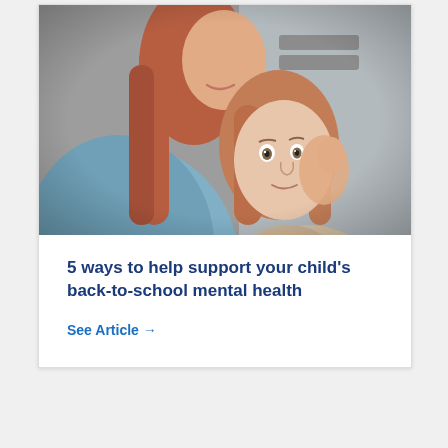[Figure (photo): A mother hugging and comforting her young daughter, who rests her head against the mother's chest. The mother cradles the daughter's face gently. Warm, soft-focus indoor setting.]
5 ways to help support your child's back-to-school mental health
See Article →